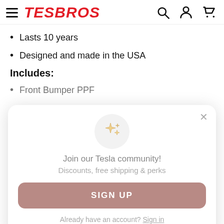TESBROS
Lasts 10 years
Designed and made in the USA
Includes:
Front Bumper PPF
[Figure (screenshot): Modal popup with sparkle stars icon, text 'Join our Tesla community!', 'Discounts, free shipping & perks', a SIGN UP button, and 'Already have an account? Sign in' link with a close X button]
Wash Mitt